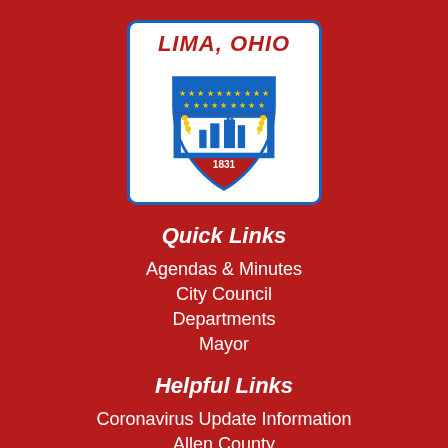[Figure (logo): City of Lima, Ohio official seal/logo in a white rounded rectangle with blue border. Shield with stars, city buildings, and '1831'.]
Quick Links
Agendas & Minutes
City Council
Departments
Mayor
Helpful Links
Coronavirus Update Information
Allen County
Employment Opportunities